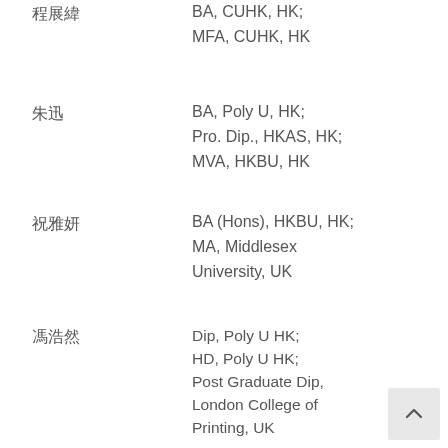程展緯　BA, CUHK, HK; MFA, CUHK, HK
朱迅　BA, Poly U, HK; Pro. Dip., HKAS, HK; MVA, HKBU, HK
祝雅妍　BA (Hons), HKBU, HK; MA, Middlesex University, UK
馮浩然　Dip, Poly U HK; HD, Poly U HK; Post Graduate Dip, London College of Printing, UK
何鎮宇　BAFA, RMIT University, AU;